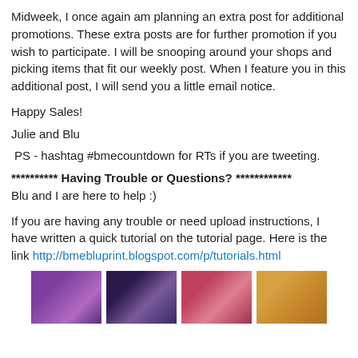Midweek, I once again am planning an extra post for additional promotions. These extra posts are for further promotion if you wish to participate. I will be snooping around your shops and picking items that fit our weekly post. When I feature you in this additional post, I will send you a little email notice.
Happy Sales!
Julie and Blu
PS - hashtag #bmecountdown for RTs if you are tweeting.
********** Having Trouble or Questions? ************
Blu and I are here to help :)
If you are having any trouble or need upload instructions, I have written a quick tutorial on the tutorial page. Here is the link http://bmebluprint.blogspot.com/p/tutorials.html
[Figure (photo): Four product images side by side: purple glittery flower/mask, dark jewelry piece with gemstones, pink/red beaded jewelry, and a beige circular coin/fossil.]